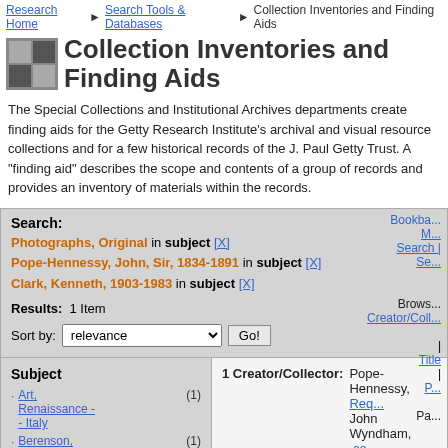Research Home > Search Tools & Databases > Collection Inventories and Finding Aids
Collection Inventories and Finding Aids
The Special Collections and Institutional Archives departments create finding aids for the Getty Research Institute's archival and visual resource collections and for a few historical records of the J. Paul Getty Trust. A "finding aid" describes the scope and contents of a group of records and provides an inventory of materials within the records.
Search: Photographs, Original in subject [X] Pope-Hennessy, John, Sir, 1834-1891 in subject [X] Clark, Kenneth, 1903-1983 in subject [X]
Results: 1 Item
Sort by: relevance Go!
Subject
Art, Renaissance - - Italy (1)
Berenson, Bernard, 1865-1959 (1)
1 Creator/Collector: Pope-Hennessy, John Wyndham, Sir, 1913-1994
Title: John Pope-Hennessy papers